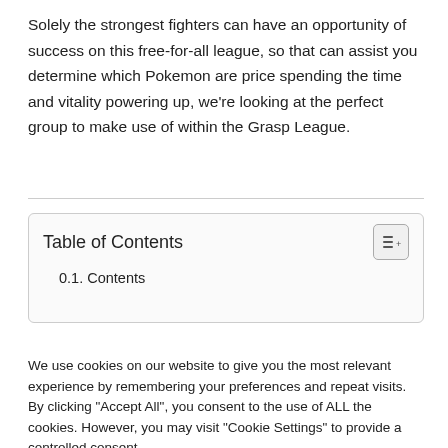Solely the strongest fighters can have an opportunity of success on this free-for-all league, so that can assist you determine which Pokemon are price spending the time and vitality powering up, we're looking at the perfect group to make use of within the Grasp League.
Table of Contents
0.1. Contents
We use cookies on our website to give you the most relevant experience by remembering your preferences and repeat visits. By clicking "Accept All", you consent to the use of ALL the cookies. However, you may visit "Cookie Settings" to provide a controlled consent.